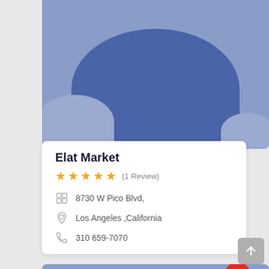[Figure (screenshot): Top listing card with blue background and semi-circular shape]
Elat Market
★★★★★ (1 Review)
8730 W Pico Blvd,
Los Angeles ,California
310 659-7070
[Figure (screenshot): Bottom listing card with blue background, red Top ribbon badge, and semi-circular profile placeholder]